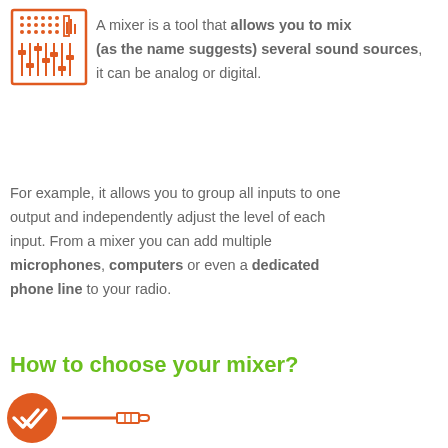[Figure (illustration): Orange outlined icon of an audio mixer with sliders and buttons grid]
A mixer is a tool that allows you to mix (as the name suggests) several sound sources, it can be analog or digital.
For example, it allows you to group all inputs to one output and independently adjust the level of each input. From a mixer you can add multiple microphones, computers or even a dedicated phone line to your radio.
How to choose your mixer?
[Figure (illustration): Orange circle with double check mark icon, and an audio jack plug icon beside it]